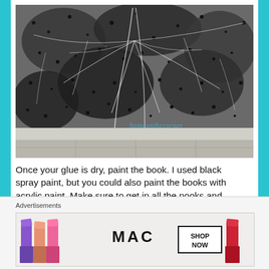[Figure (photo): Close-up photo of a book painted black with paper towels giving it a textured old look. The surface shows black paint with spider-web like white fiber texture from paper towels, sitting on a tiled floor. Watermark reads 'homeonthecorner' in light blue.]
Once your glue is dry, paint the book. I used black spray paint, but you could also paint the books with acrylic paint. Make sure to get in all the nooks and crevices. Now you can see how the paper towels give it that old look.
Advertisements
[Figure (photo): MAC Cosmetics advertisement showing colorful lipsticks (purple, peach, pink, red) with MAC logo and 'SHOP NOW' button.]